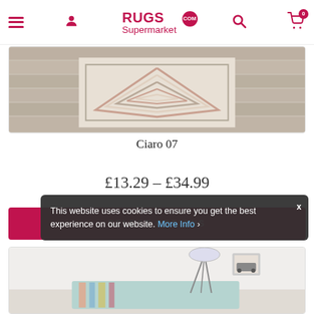RUGS Supermarket .COM
[Figure (photo): Ciaro 07 rug product image showing geometric chevron/arrow pattern on a wooden floor background]
Ciaro 07
£13.29 – £34.99
SELECT OPTIONS
This website uses cookies to ensure you get the best experience on our website. More Info
[Figure (photo): Second product rug image partially visible showing a colourful rug with a lamp and room decor]